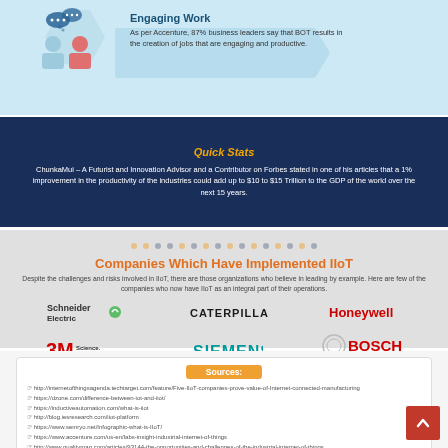[Figure (infographic): Engaging Work section with two figures with speech bubbles on light blue background with a hexagon icon]
Engaging Work
As per Accenture, 87% business leaders say that BOT results in the creation of jobs that are engaging and productive.
Quick Stats
ChunkaMui – A Futurist and Innovation Advisor and a Contributor on Forbes stated in one of his articles that a 1% improvement in the productivity of the industries could add up to $10 to $15 Trillion to the GDP of the world over the next 15 years.
Companies Which Have Implemented IIoT
Despite the challenges and risks involved in IIoT, there are those organizations who believe in leading by example. Here are few of the companies who now have IIoT as an integral part of their operations.
[Figure (logo): Schneider Electric logo]
[Figure (logo): CATERPILLAR logo]
[Figure (logo): Honeywell logo]
[Figure (logo): 3M Science. Applied to Life. logo]
[Figure (logo): SIEMENS logo]
[Figure (logo): BOSCH Invented for life logo]
Sources:
http://internetofthingsagenda.techtarget.com/feature/Five-IIoT-companies-prove-value-of-Internet-connected-manufacturing
https://dzone.com/difference-between-iot-and-iiot/
https://inductiveautomation.com/what-is-iiot
http://blog.iesresearch.com/iiot-platform
https://www.semryo.net/Infographic-what-is-IIoT/
https://www.accenture.com/us-en/labs-insight-industrial-internet-of-things
http://www.qualitymag.com/articles/93144-the-opportunities-and-challenges-of-the-industrial-internet-of-things
https://www.accenture.com/us-end-insight-industrial-internet-of-things
https://www.forbes.com/sites/chunkamui/2015/05/04/thinking-big-about-industrial-iot/41701b5cdd9210